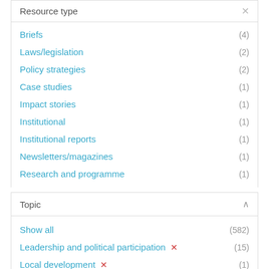Resource type
Briefs (4)
Laws/legislation (2)
Policy strategies (2)
Case studies (1)
Impact stories (1)
Institutional (1)
Institutional reports (1)
Newsletters/magazines (1)
Research and programme (1)
Topic
Show all (582)
Leadership and political participation ✕ (15)
Local development ✕ (1)
Peace and security (63)
Ending violence against women and girls (45)